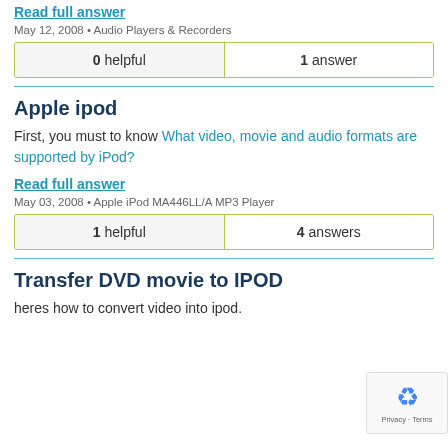Read full answer
May 12, 2008 • Audio Players & Recorders
| 0 helpful | 1 answer |
Apple ipod
First, you must to know What video, movie and audio formats are supported by iPod?
Read full answer
May 03, 2008 • Apple iPod MA446LL/A MP3 Player
| 1 helpful | 4 answers |
Transfer DVD movie to IPOD
heres how to convert video into ipod.